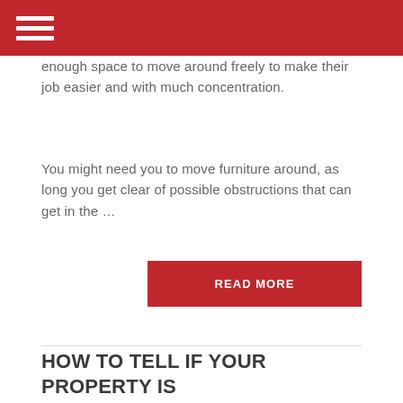enough space to move around freely to make their job easier and with much concentration.
You might need you to move furniture around, as long you get clear of possible obstructions that can get in the …
READ MORE
HOW TO TELL IF YOUR PROPERTY IS PEST-INFESTED?
[Figure (photo): Exterior photo of a Southern-style house with a covered porch, gothic-arched windows, and large trees with Spanish moss]